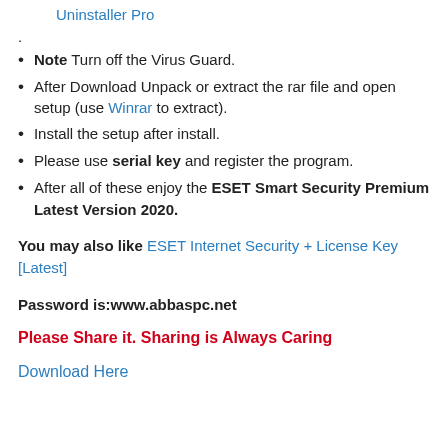Uninstall the previous version by using IObit Uninstaller Pro.
Note Turn off the Virus Guard.
After Download Unpack or extract the rar file and open setup (use Winrar to extract).
Install the setup after install.
Please use serial key and register the program.
After all of these enjoy the ESET Smart Security Premium Latest Version 2020.
You may also like ESET Internet Security + License Key [Latest]
Password is:www.abbaspc.net
Please Share it. Sharing is Always Caring
Download Here